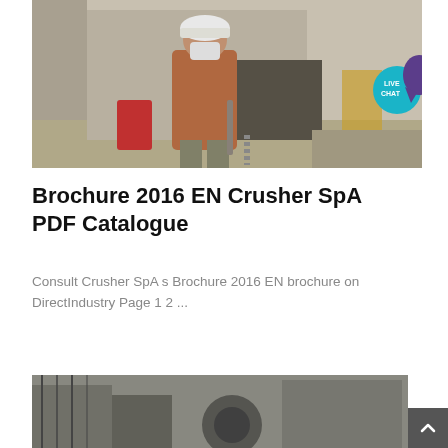[Figure (photo): A worker wearing a white hard hat and face mask standing at a construction/quarry site with concrete structures and machinery in the background. A 'Live Chat' speech bubble icon is visible in the top-right corner.]
Brochure 2016 EN Crusher SpA PDF Catalogue
Consult Crusher SpA s Brochure 2016 EN brochure on DirectIndustry Page 1 2 ...
[Figure (photo): Partial view of industrial machinery, bottom of page, cut off.]